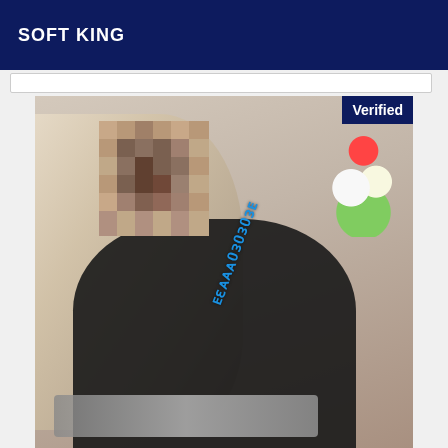SOFT KING
[Figure (photo): Photo of a woman with long blonde hair wearing a black outfit, face pixelated/blurred for privacy, leaning over a glass table. A watermark text appears on the image. Flowers visible in upper right corner.]
Verified